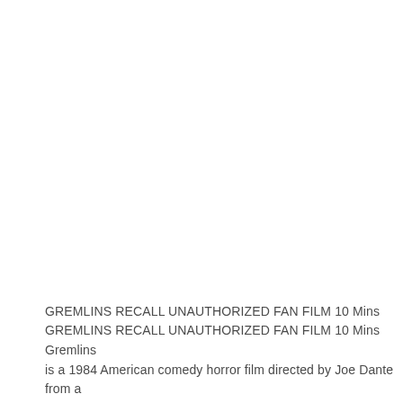GREMLINS RECALL UNAUTHORIZED FAN FILM 10 Mins GREMLINS RECALL UNAUTHORIZED FAN FILM 10 Mins Gremlins is a 1984 American comedy horror film directed by Joe Dante from a